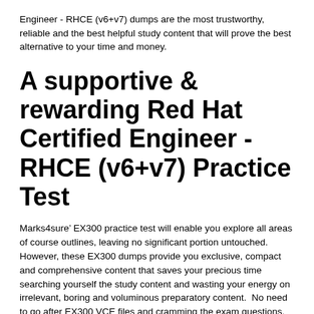Engineer - RHCE (v6+v7) dumps are the most trustworthy, reliable and the best helpful study content that will prove the best alternative to your time and money.
A supportive & rewarding Red Hat Certified Engineer - RHCE (v6+v7) Practice Test
Marks4sure’ EX300 practice test will enable you explore all areas of course outlines, leaving no significant portion untouched. However, these EX300 dumps provide you exclusive, compact and comprehensive content that saves your precious time searching yourself the study content and wasting your energy on irrelevant, boring and voluminous preparatory content.  No need to go after EX300 VCE files and cramming the exam questions. Marks4sure’ EX300 Red Hat Certified Engineer - RHCE (v6+v7) questions answers exam simulator is far more effective to introduce with the format and nature of EX300 questions in IT certification exam paper.
Red Hat Certified Engineer